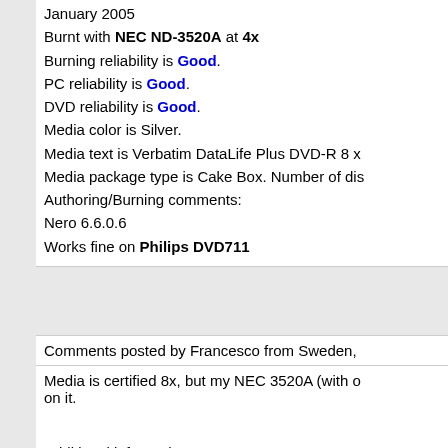January 2005
Burnt with NEC ND-3520A at 4x
Burning reliability is Good.
PC reliability is Good.
DVD reliability is Good.
Media color is Silver.
Media text is Verbatim DataLife Plus DVD-R 8 x
Media package type is Cake Box. Number of dis
Authoring/Burning comments:
Nero 6.6.0.6
Works fine on Philips DVD711
Comments posted by Francesco from Sweden,
Media is certified 8x, but my NEC 3520A (with o
on it.
Additional information: